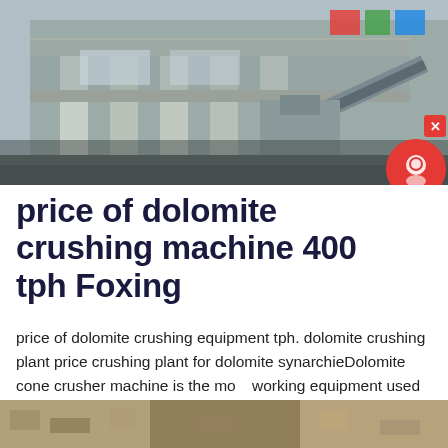[Figure (photo): Industrial crushing machine / plant facility photo, concrete structure with machinery and conveyor belt visible.]
price of dolomite crushing machine 400 tph Foxing
price of dolomite crushing equipment tph. dolomite crushing plant price crushing plant for dolomite synarchieDolomite cone crusher machine is the most working equipment used in turnkey dolomite crushing plant glass ceramic industry fertilizer construction and decorative stone paint pesticides and It needs to have basic crushing process
[Figure (photo): Second industrial/mining site photo at the bottom of the page, partially visible.]